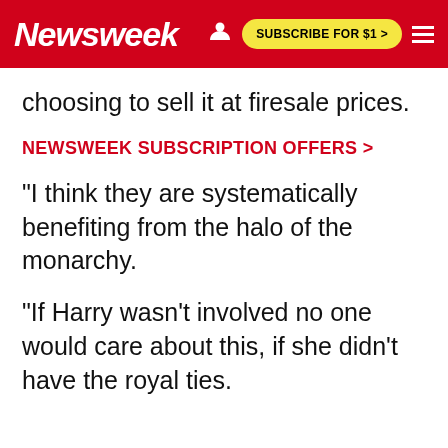Newsweek | SUBSCRIBE FOR $1 >
choosing to sell it at firesale prices.
NEWSWEEK SUBSCRIPTION OFFERS >
"I think they are systematically benefiting from the halo of the monarchy.
"If Harry wasn't involved no one would care about this, if she didn't have the royal ties.